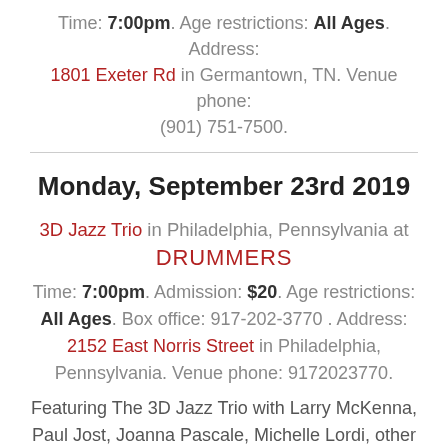Time: 7:00pm. Age restrictions: All Ages. Address: 1801 Exeter Rd in Germantown, TN. Venue phone: (901) 751-7500.
Monday, September 23rd 2019
3D Jazz Trio in Philadelphia, Pennsylvania at DRUMMERS
Time: 7:00pm. Admission: $20. Age restrictions: All Ages. Box office: 917-202-3770 . Address: 2152 East Norris Street in Philadelphia, Pennsylvania. Venue phone: 9172023770.
Featuring The 3D Jazz Trio with Larry McKenna, Paul Jost, Joanna Pascale, Michelle Lordi, other Philly